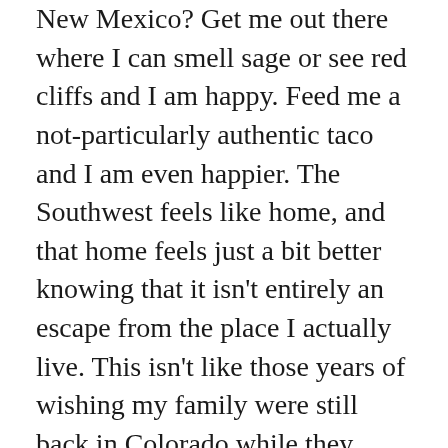New Mexico? Get me out there where I can smell sage or see red cliffs and I am happy. Feed me a not-particularly authentic taco and I am even happier. The Southwest feels like home, and that home feels just a bit better knowing that it isn't entirely an escape from the place I actually live. This isn't like those years of wishing my family were still back in Colorado while they were so happy to be out of it. When I go back home to Barrow now, I'll be happier to be there. It makes it just a little easier to enjoy visiting my old turf.
So, what has me traveling down this very self-indulgent road? Nostalgia to be sure, but honestly, I'm not sure that this post is entirely about me. It may seem ironic given the me-ness of what I've written so far, but I think what triggered it was my girlfriend, Monica. I have spent the last month with her, here in Los Angeles. (She would say, San